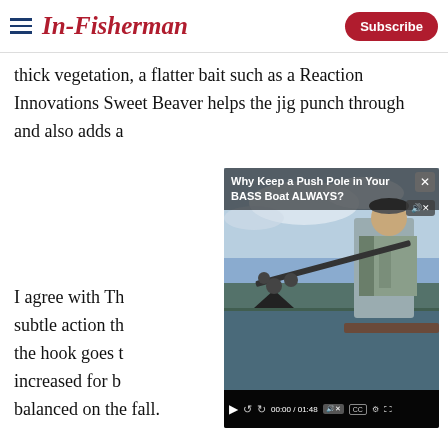In-Fisherman | Subscribe
thick vegetation, a flatter bait such as a Reaction Innovations Sweet Beaver helps the jig punch through and also adds a
[Figure (screenshot): Embedded video overlay titled 'Why Keep a Push Pole in Your BASS Boat ALWAYS?' showing a man holding a push pole near a boat on water, with playback controls showing 00:00 / 01:48]
I agree with Tha subtle action th the hook goes t increased for b balanced on the fall.
We use cookies to provide you with the best experience in Outdoors programming. Click accept to continue or read about our Privacy Policy.
[Figure (screenshot): Advertisement banner: 'LIFEJACKETS HELP SIBLINGS SURVIVE 14-HOUR SWIM IN HEAVY SEAS' with LEARN MORE button, showing a person in a yellow life jacket]